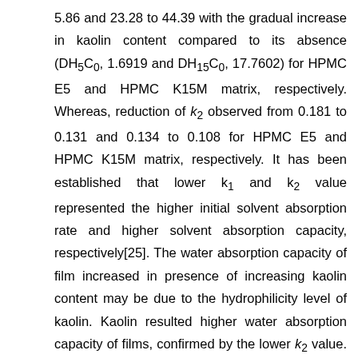5.86 and 23.28 to 44.39 with the gradual increase in kaolin content compared to its absence (DH5C0, 1.6919 and DH15C0, 17.7602) for HPMC E5 and HPMC K15M matrix, respectively. Whereas, reduction of k2 observed from 0.181 to 0.131 and 0.134 to 0.108 for HPMC E5 and HPMC K15M matrix, respectively. It has been established that lower k1 and k2 value represented the higher initial solvent absorption rate and higher solvent absorption capacity, respectively[25]. The water absorption capacity of film increased in presence of increasing kaolin content may be due to the hydrophilicity level of kaolin. Kaolin resulted higher water absorption capacity of films, confirmed by the lower k2 value. The k1raised as the kaolin content increased